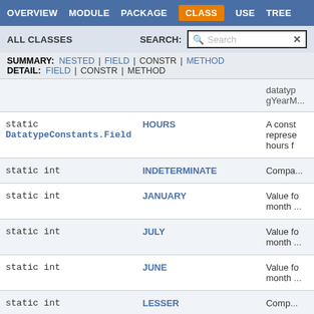OVERVIEW  MODULE  PACKAGE  CLASS  USE  TREE
ALL CLASSES  SEARCH:
SUMMARY: NESTED | FIELD | CONSTR | METHOD
DETAIL: FIELD | CONSTR | METHOD
| Modifier and Type | Field | Description |
| --- | --- | --- |
|  | datatypegYearM... |  |
| static
DatatypeConstants.Field | HOURS | A const
represe
hours f |
| static int | INDETERMINATE | Compa... |
| static int | JANUARY | Value fo
month ... |
| static int | JULY | Value fo
month ... |
| static int | JUNE | Value fo
month ... |
| static int | LESSER | Comp... |